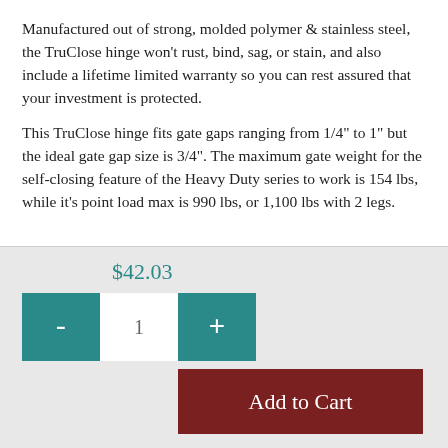Manufactured out of strong, molded polymer & stainless steel, the TruClose hinge won't rust, bind, sag, or stain, and also include a lifetime limited warranty so you can rest assured that your investment is protected.
This TruClose hinge fits gate gaps ranging from 1/4" to 1" but the ideal gate gap size is 3/4". The maximum gate weight for the self-closing feature of the Heavy Duty series to work is 154 lbs, while it's point load max is 990 lbs, or 1,100 lbs with 2 legs.
$42.03